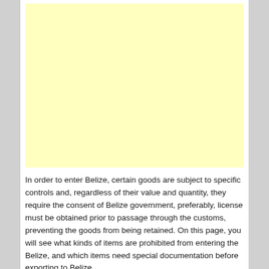[Figure (other): A plain light yellow rectangle, likely a placeholder for an image or map related to Belize customs regulations.]
In order to enter Belize, certain goods are subject to specific controls and, regardless of their value and quantity, they require the consent of Belize government, preferably, license must be obtained prior to passage through the customs, preventing the goods from being retained. On this page, you will see what kinds of items are prohibited from entering the Belize, and which items need special documentation before exporting to Belize.